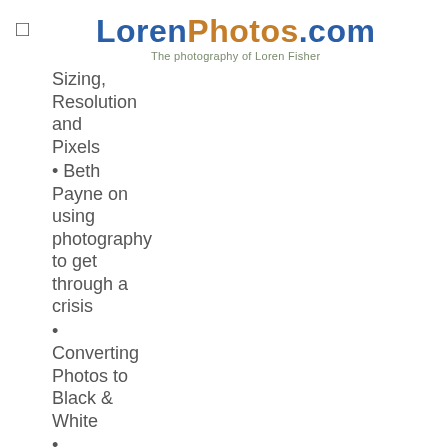LorenPhotos.com — The photography of Loren Fisher
Sizing, Resolution and Pixels
• Beth Payne on using photography to get through a crisis
• Converting Photos to Black & White
• Introduction to Lightroom
• Exposure Modes
• Printing